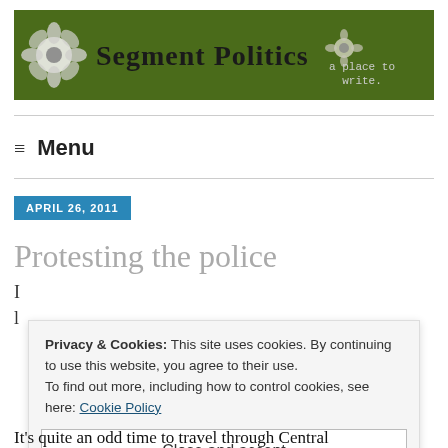[Figure (logo): Segment Politics website banner with green background, flower icons, bold title 'Segment Politics', and tagline 'a place to write.']
≡ Menu
APRIL 26, 2011
Protesting the police
It's quite an odd time to travel through Central
Privacy & Cookies: This site uses cookies. By continuing to use this website, you agree to their use. To find out more, including how to control cookies, see here: Cookie Policy
Close and accept